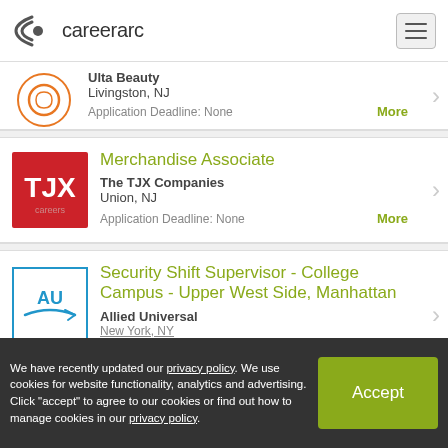careerarc
Ulta Beauty
Livingston, NJ
Application Deadline: None
More
Merchandise Associate
The TJX Companies
Union, NJ
Application Deadline: None
More
Security Shift Supervisor - College Campus - Upper West Side, Manhattan
Allied Universal
New York, NY
We have recently updated our privacy policy. We use cookies for website functionality, analytics and advertising. Click "accept" to agree to our cookies or find out how to manage cookies in our privacy policy.